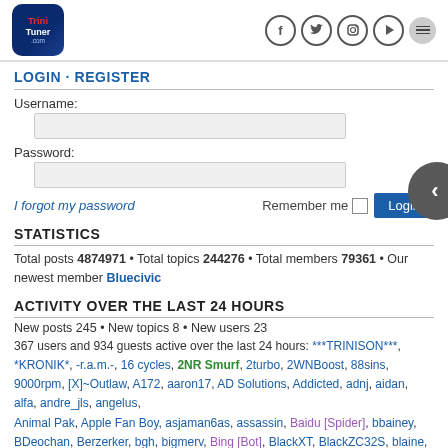TriniTuner.com logo and social icons (Facebook, Twitter, Instagram, Play, Menu)
LOGIN · REGISTER
Username:
Password:
I forgot my password    Remember me  [checkbox]  Login
STATISTICS
Total posts 4874971 • Total topics 244276 • Total members 79361 • Our newest member Bluecivic
ACTIVITY OVER THE LAST 24 HOURS
New posts 245 • New topics 8 • New users 23
367 users and 934 guests active over the last 24 hours: ***TRINISON***, *KRONIK*, -r.a.m.-, 16 cycles, 2NR Smurf, 2turbo, 2WNBoost, 88sins, 9000rpm, [X]~Outlaw, A172, aaron17, AD Solutions, Addicted, adnj, aidan, alfa, andre_jls, angelus, Animal Pak, Apple Fan Boy, asjaman6as, assassin, Baidu [Spider], bbainey, BDeochan, Berzerker, bgh, bigmerv, Bing [Bot], BlackXT, BlackZC32S, blaine, blingbling, blueclues, bootsie, bossmann, braj3879, brickman, caliph tec, Calor, ...